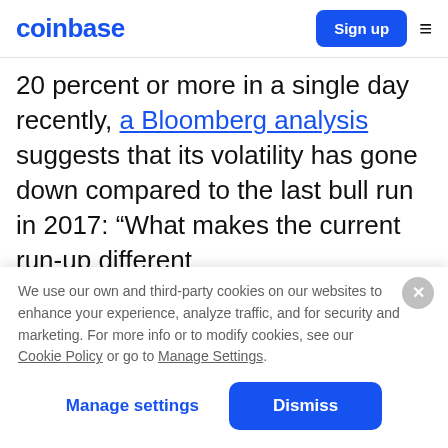coinbase | Sign up
20 percent or more in a single day recently, a Bloomberg analysis suggests that its volatility has gone down compared to the last bull run in 2017: “What makes the current run-up different
We use our own and third-party cookies on our websites to enhance your experience, analyze traffic, and for security and marketing. For more info or to modify cookies, see our Cookie Policy or go to Manage Settings.
Manage settings | Dismiss